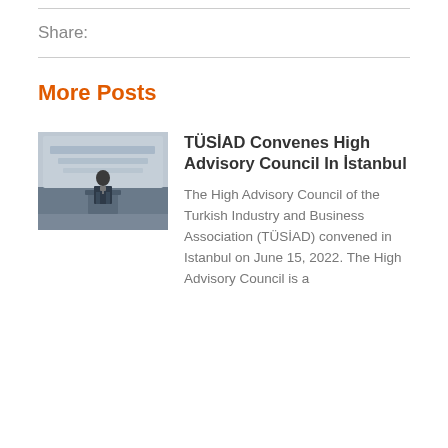Share:
More Posts
[Figure (photo): A man in a suit speaking at a podium at the YÜKSEK İSTİŞARE KURULU 2022 event, with a large banner in the background.]
TÜSİAD Convenes High Advisory Council In İstanbul
The High Advisory Council of the Turkish Industry and Business Association (TÜSİAD) convened in Istanbul on June 15, 2022. The High Advisory Council is a